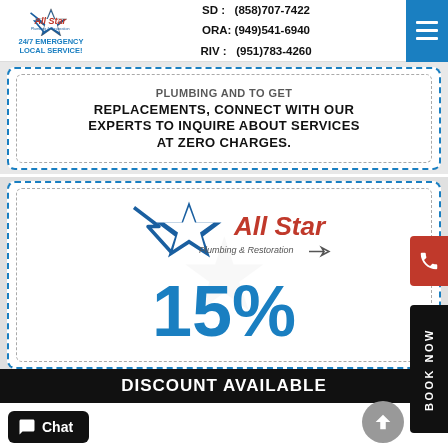All Star Plumbing & Restoration | 24/7 EMERGENCY LOCAL SERVICE! | SD: (858)707-7422 | ORA: (949)541-6940 | RIV: (951)783-4260
REPLACEMENTS, CONNECT WITH OUR EXPERTS TO INQUIRE ABOUT SERVICES AT ZERO CHARGES.
[Figure (logo): All Star Plumbing & Restoration logo with star and lightning bolt]
15%
DISCOUNT AVAILABLE